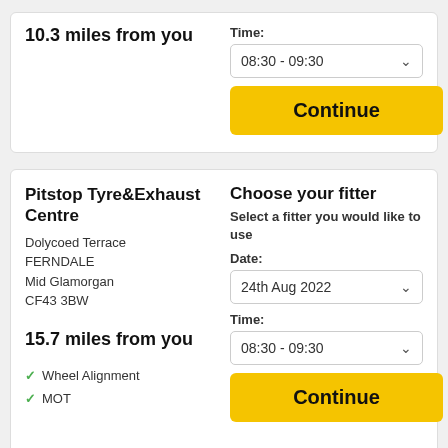10.3 miles from you
Time: 08:30 - 09:30
Continue
Pitstop Tyre&Exhaust Centre
Dolycoed Terrace
FERNDALE
Mid Glamorgan
CF43 3BW
15.7 miles from you
Wheel Alignment
MOT
Choose your fitter
Select a fitter you would like to use
Date: 24th Aug 2022
Time: 08:30 - 09:30
Continue